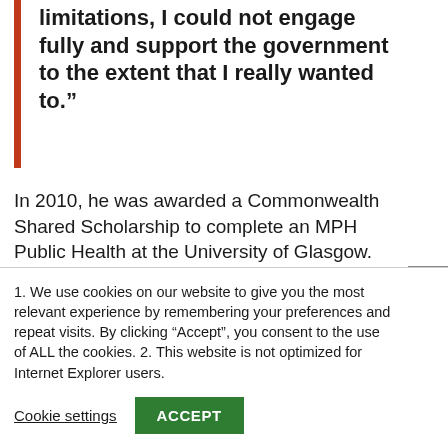limitations, I could not engage fully and support the government to the extent that I really wanted to.”
In 2010, he was awarded a Commonwealth Shared Scholarship to complete an MPH Public Health at the University of Glasgow.
“Postgraduate study was an amazing
1. We use cookies on our website to give you the most relevant experience by remembering your preferences and repeat visits. By clicking “Accept”, you consent to the use of ALL the cookies. 2. This website is not optimized for Internet Explorer users.
Cookie settings
ACCEPT